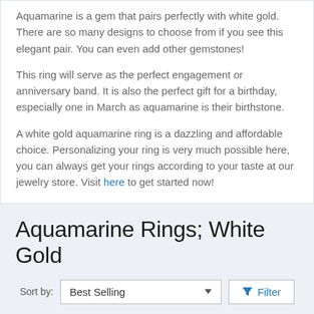Aquamarine is a gem that pairs perfectly with white gold. There are so many designs to choose from if you see this elegant pair. You can even add other gemstones!
This ring will serve as the perfect engagement or anniversary band.  It is also the perfect gift for a birthday, especially one in March as aquamarine is their birthstone.
A white gold aquamarine ring is a dazzling and affordable choice.  Personalizing your ring is very much possible here, you can always get your rings according to your taste at our jewelry store. Visit here to get started now!
Aquamarine Rings; White Gold
Sort by: Best Selling  Filter
[Figure (other): Two product card placeholders (white rectangles) shown at bottom of page]